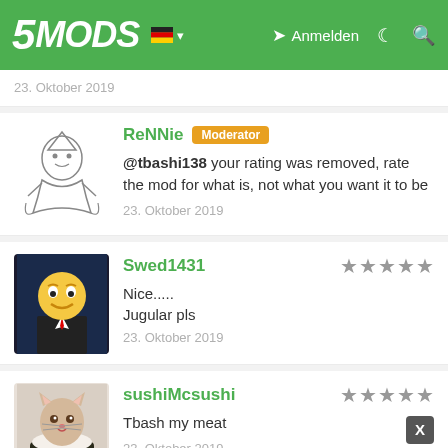5MODS — Anmelden
23. Oktober 2019
ReNNie Moderator
@tbashi138 your rating was removed, rate the mod for what is, not what you want it to be
23. Oktober 2019
Swed1431
Nice.....
Jugular pls
23. Oktober 2019
sushiMcsushi
Tbash my meat
23. Oktober 2019
DriftB...